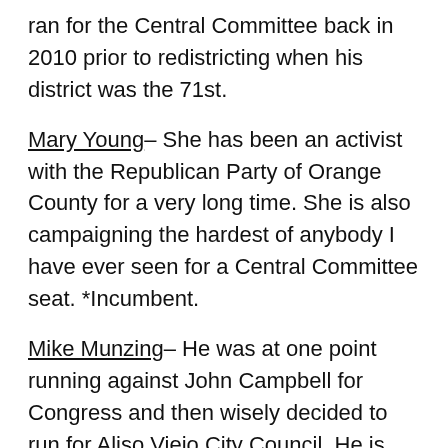ran for the Central Committee back in 2010 prior to redistricting when his district was the 71st.
Mary Young– She has been an activist with the Republican Party of Orange County for a very long time. She is also campaigning the hardest of anybody I have ever seen for a Central Committee seat. *Incumbent.
Mike Munzing– He was at one point running against John Campbell for Congress and then wisely decided to run for Aliso Viejo City Council. He is very good at marketing himself from what I have witnessed through his many activities. *Incumbent.
Alice Anderson– She is currently an incumbent in this district. I would encourage those involved in OCGOP politics to seek out a way to sign her nomination papers if you live in this district. *Incumbent.